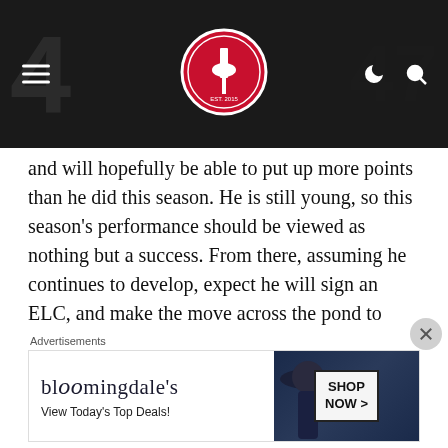FlamesNation.ca website header with logo, hamburger menu, moon icon, and search icon
and will hopefully be able to put up more points than he did this season. He is still young, so this season's performance should be viewed as nothing but a success. From there, assuming he continues to develop, expect he will sign an ELC, and make the move across the pond to North America. It will likely take him at least a season or two to get used to the North American game, depending on his ability to adapt. Assuming he continues to grow and develop, he could be in Calgary in a few years time.
Scouts have called him a high floor player, someone who has
Advertisements
[Figure (other): Bloomingdale's advertisement banner: 'View Today's Top Deals!' with SHOP NOW > button and image of woman in wide-brim hat]